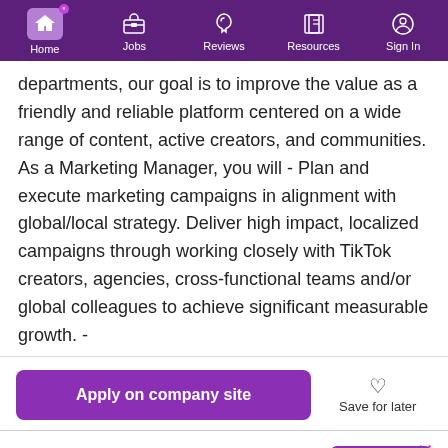Home | Jobs | Reviews | Resources | Sign In
departments, our goal is to improve the value as a friendly and reliable platform centered on a wide range of content, active creators, and communities. As a Marketing Manager, you will - Plan and execute marketing campaigns in alignment with global/local strategy. Deliver high impact, localized campaigns through working closely with TikTok creators, agencies, cross-functional teams and/or global colleagues to achieve significant measurable growth. -
Apply on company site
Save for later
Our site uses cookies to improve your experience. Read More
Got It!